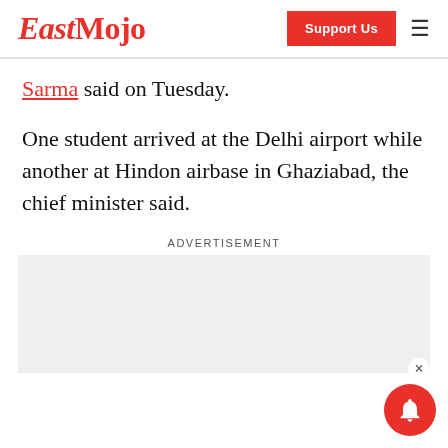EastMojo | Support Us
Sarma said on Tuesday.
One student arrived at the Delhi airport while another at Hindon airbase in Ghaziabad, the chief minister said.
ADVERTISEMENT